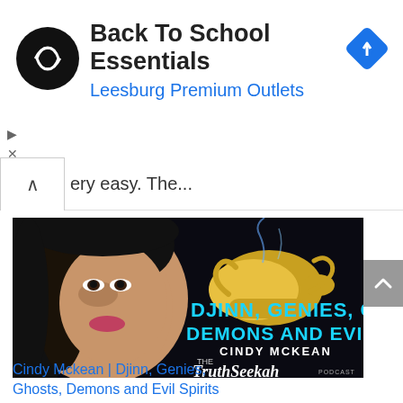[Figure (screenshot): Ad banner: black circular logo with infinity-like symbol, headline 'Back To School Essentials', subheading 'Leesburg Premium Outlets' in blue, blue diamond navigation icon on right]
ery easy. The...
[Figure (photo): TruthSeekah podcast thumbnail showing woman's face on left, golden genie lamp on dark background on right, text overlay: DJINN, GENIES, GHOSTS DEMONS AND EVIL SPIRITS CINDY MCKEAN THE TRUTHSEEKAH PODCAST]
Cindy Mckean | Djinn, Genies, Ghosts, Demons and Evil Spirits by TruthSeekah | May 15, 2018 | 5 comments